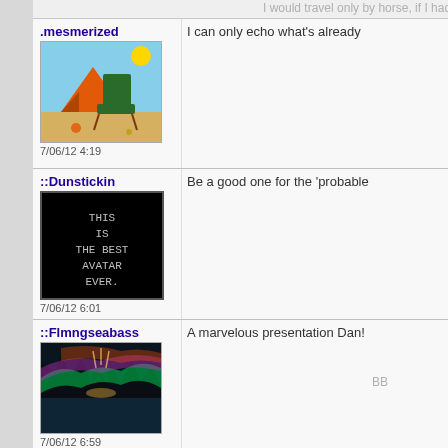I would travel only by horse, if I had the
.mesmerized
[Figure (photo): Beach scene avatar with tent and chair]
7/06/12 4:19
I can only echo what's already
::Dunstickin
[Figure (photo): Black avatar with text: THIS IS THE BEST AVATAR EVER.]
7/06/12 6:01
Be a good one for the 'probable
::Flmngseabass
[Figure (photo): Colorful sunset lake landscape photo]
7/06/12 6:59
BB
A marvelous presentation Dan!
::stonewolff
[Figure (photo): Colorful optical illusion pattern with green, red, blue, pink grid]
7/06/12 10:38
Excellent capture my Friend, w to....hmmmm....maybe I'm still t awesome photo, I would have p